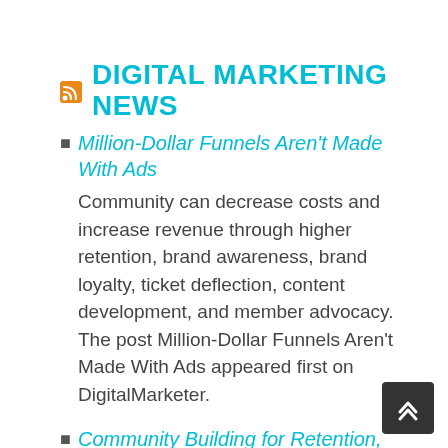DIGITAL MARKETING NEWS
Million-Dollar Funnels Aren't Made With Ads
Community can decrease costs and increase revenue through higher retention, brand awareness, brand loyalty, ticket deflection, content development, and member advocacy.  The post Million-Dollar Funnels Aren't Made With Ads appeared first on DigitalMarketer.
Community Building for Retention, Awareness, Loyalty, Content, & Member Advocacy
Community can decrease costs and